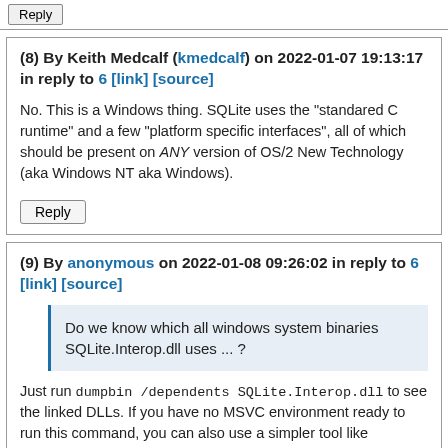Reply (button, top strip)
(8) By Keith Medcalf (kmedcalf) on 2022-01-07 19:13:17 in reply to 6 [link] [source]
No. This is a Windows thing. SQLite uses the "standared C runtime" and a few "platform specific interfaces", all of which should be present on ANY version of OS/2 New Technology (aka Windows NT aka Windows).
Reply
(9) By anonymous on 2022-01-08 09:26:02 in reply to 6 [link] [source]
Do we know which all windows system binaries SQLite.Interop.dll uses ... ?
Just run dumpbin /dependents SQLite.Interop.dll to see the linked DLLs. If you have no MSVC environment ready to run this command, you can also use a simpler tool like